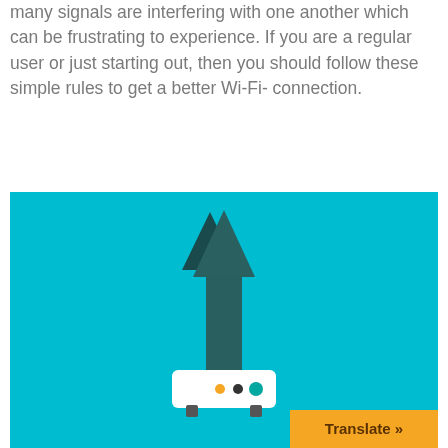many signals are interfering with one another which can be frustrating to experience. If you are a regular user or just starting out, then you should follow these simple rules to get a better Wi-Fi- connection.
[Figure (illustration): A flat illustration of a Wi-Fi router with a white rectangular body, three indicator dots (yellow, dark, teal), dark legs, and a large dark teal upward arrow rising from the top, all on a teal/cyan background. An orange 'Translate »' button appears in the bottom-right corner.]